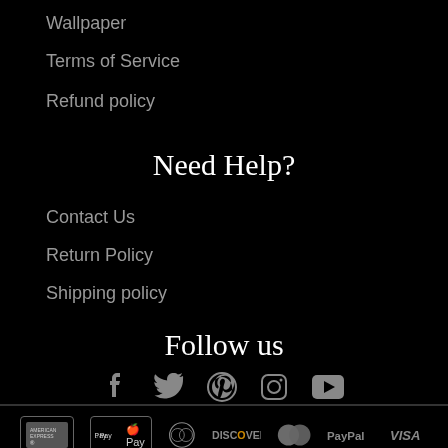Wallpaper
Terms of Service
Refund policy
Need Help?
Contact Us
Return Policy
Shipping policy
Follow us
[Figure (infographic): Social media icons: Facebook, Twitter, Pinterest, Instagram, YouTube]
[Figure (infographic): Payment method icons: American Express, Apple Pay, Diners Club, Discover, MasterCard, PayPal, Visa]